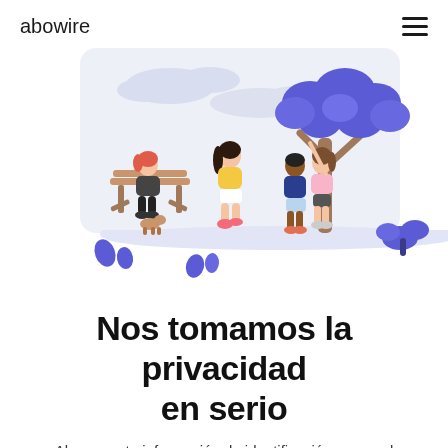abowire
[Figure (illustration): A park scene illustration with people: a woman sitting on a bench with a dog, a girl in yellow walking, a couple walking together near a tree with blue leaves, and blue decorative plants. Light pastel blue/purple sky background.]
Nos tomamos la privacidad en serio
Almacena tu información de identificación personal